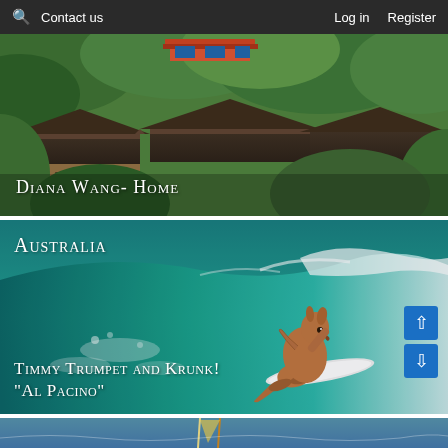🔍 Contact us   Log in   Register
[Figure (photo): Aerial view of traditional Chinese rooftop architecture surrounded by dense green trees, with a colorful temple building visible at the top]
Diana Wang- Home
[Figure (photo): A kangaroo surfing on a large ocean wave on a white surfboard, with teal-green water and white foam]
Australia
Timmy Trumpet and Krunk!
"Al Pacino"
[Figure (photo): Partial view of a coastal/sailing scene at the bottom, partially cut off]